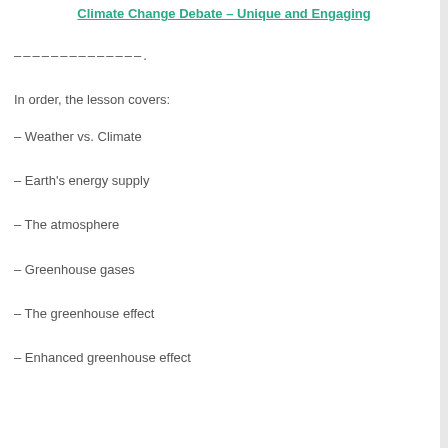Climate Change Debate – Unique and Engaging
————————————.
In order, the lesson covers:
– Weather vs. Climate
– Earth's energy supply
– The atmosphere
– Greenhouse gases
– The greenhouse effect
– Enhanced greenhouse effect